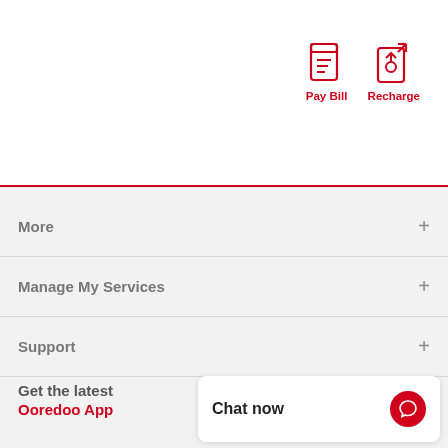[Figure (infographic): Pay Bill icon - red mobile phone with document lines]
[Figure (infographic): Recharge icon - red mobile phone with upward arrow]
More
Manage My Services
Support
Get the latest Ooredoo App
Chat now